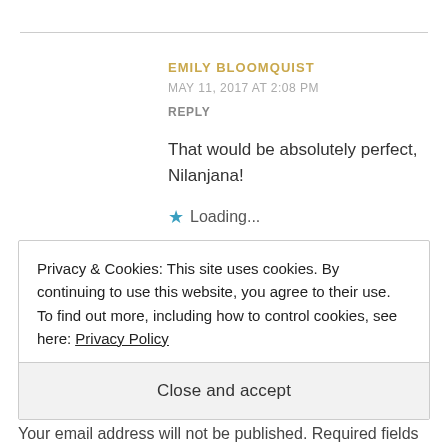EMILY BLOOMQUIST
MAY 11, 2017 AT 2:08 PM
REPLY
That would be absolutely perfect, Nilanjana!
★ Loading...
Privacy & Cookies: This site uses cookies. By continuing to use this website, you agree to their use.
To find out more, including how to control cookies, see here: Privacy Policy
Close and accept
Your email address will not be published. Required fields